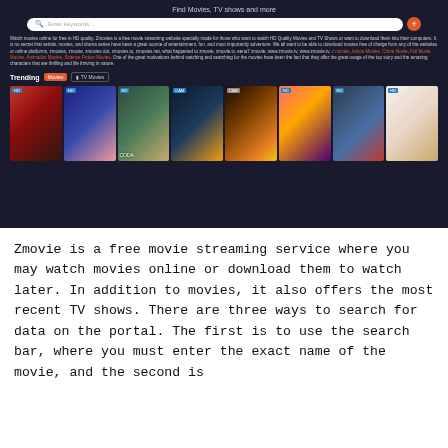[Figure (screenshot): Screenshot of Zmovie website showing search bar with 'Enter keywords...' placeholder, description text about the service, trending section with movie/TV tabs, and a horizontal strip of 8 movie poster thumbnails including CODA and others with HD/CAM quality badges.]
Zmovie is a free movie streaming service where you may watch movies online or download them to watch later. In addition to movies, it also offers the most recent TV shows. There are three ways to search for data on the portal. The first is to use the search bar, where you must enter the exact name of the movie, and the second is